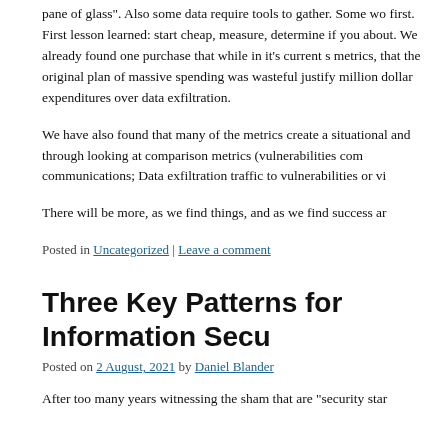pane of glass". Also some data require tools to gather. Some wo first. First lesson learned: start cheap, measure, determine if you about. We already found one purchase that while in it’s current s metrics, that the original plan of massive spending was wasteful justify million dollar expenditures over data exfiltration.
We have also found that many of the metrics create a situational and through looking at comparison metrics (vulnerabilities com communications; Data exfiltration traffic to vulnerabilities or vi
There will be more, as we find things, and as we find success ar
Posted in Uncategorized | Leave a comment
Three Key Patterns for Information Secu
Posted on 2 August, 2021 by Daniel Blander
After too many years witnessing the sham that are “security star